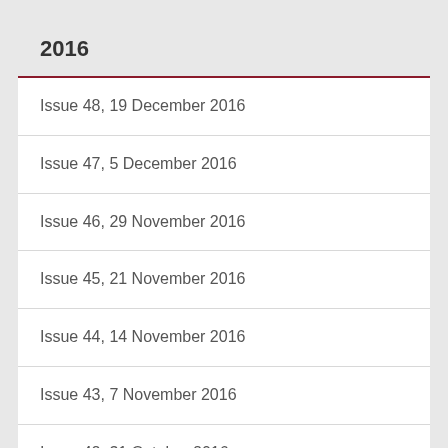2016
Issue 48, 19 December 2016
Issue 47, 5 December 2016
Issue 46, 29 November 2016
Issue 45, 21 November 2016
Issue 44, 14 November 2016
Issue 43, 7 November 2016
Issue 42, 31 October 2016